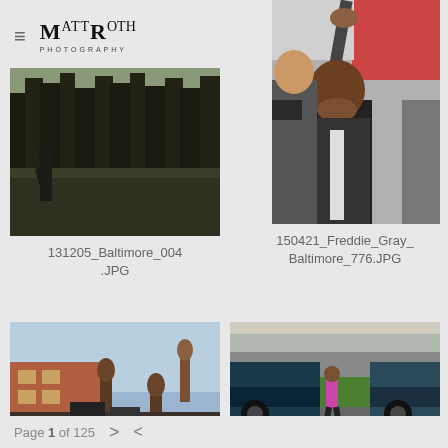MR Photography (Matt Roth Photography logo)
[Figure (photo): Person standing in a field with bare trees in background, dark overcast sky]
[Figure (photo): Man with hand over mouth at a protest, baseball bat raised in background, crowd around him]
131205_Baltimore_004.JPG
150421_Freddie_Gray_Baltimore_776.JPG
[Figure (photo): People with hands raised in front of a brick building against blue sky]
[Figure (photo): Person in pink top walking between parked trucks on a street with green grass median]
Page 1 of 125 > <